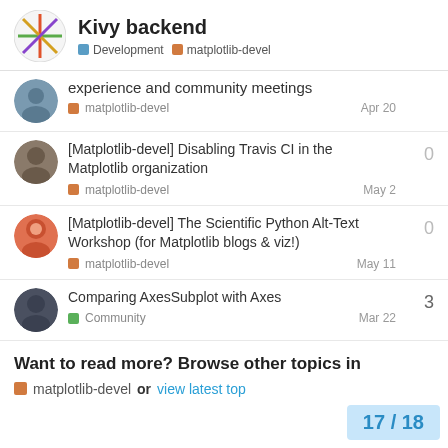Kivy backend — Development | matplotlib-devel
experience and community meetings — matplotlib-devel — Apr 20
[Matplotlib-devel] Disabling Travis CI in the Matplotlib organization — matplotlib-devel — May 2 — 0 replies
[Matplotlib-devel] The Scientific Python Alt-Text Workshop (for Matplotlib blogs & viz!) — matplotlib-devel — May 11 — 0 replies
Comparing AxesSubplot with Axes — Community — Mar 22 — 3 replies
Want to read more? Browse other topics in
matplotlib-devel or view latest top
17 / 18